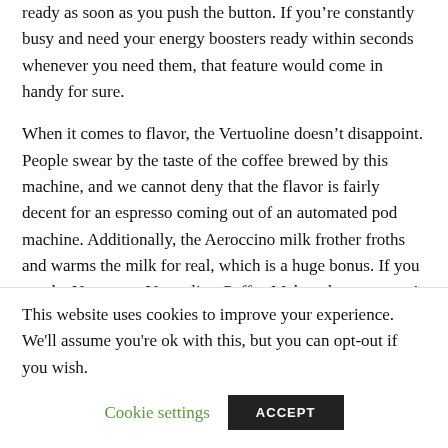ready as soon as you push the button. If you're constantly busy and need your energy boosters ready within seconds whenever you need them, that feature would come in handy for sure.
When it comes to flavor, the Vertuoline doesn't disappoint. People swear by the taste of the coffee brewed by this machine, and we cannot deny that the flavor is fairly decent for an espresso coming out of an automated pod machine. Additionally, the Aeroccino milk frother froths and warms the milk for real, which is a huge bonus. If you get the Nespresso Vertuoline Coffee Maker, the taste won't be a concern.
This website uses cookies to improve your experience. We'll assume you're ok with this, but you can opt-out if you wish.